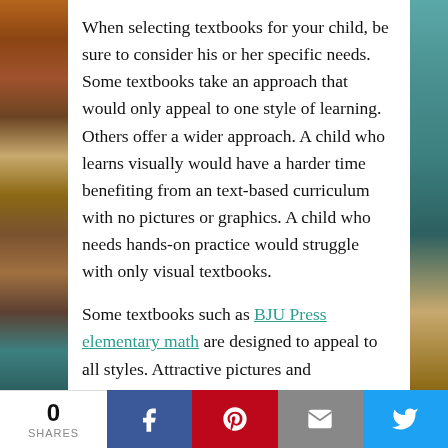When selecting textbooks for your child, be sure to consider his or her specific needs. Some textbooks take an approach that would only appeal to one style of learning. Others offer a wider approach. A child who learns visually would have a harder time benefiting from an text-based curriculum with no pictures or graphics. A child who needs hands-on practice would struggle with only visual textbooks.
Some textbooks such as BJU Press elementary math are designed to appeal to all styles. Attractive pictures and illustrations help the visual learner while included manipulatives provide a hands-on experience. Extra practice sheets are there for those who need to read and work out the problems individually. Textbooks like
[Figure (other): Social sharing bar at the bottom with share count 0, Facebook, Pinterest, Email, and Twitter buttons]